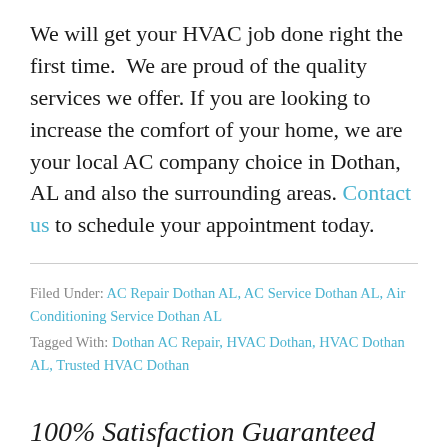We will get your HVAC job done right the first time. We are proud of the quality services we offer. If you are looking to increase the comfort of your home, we are your local AC company choice in Dothan, AL and also the surrounding areas. Contact us to schedule your appointment today.
Filed Under: AC Repair Dothan AL, AC Service Dothan AL, Air Conditioning Service Dothan AL
Tagged With: Dothan AC Repair, HVAC Dothan, HVAC Dothan AL, Trusted HVAC Dothan
100% Satisfaction Guaranteed